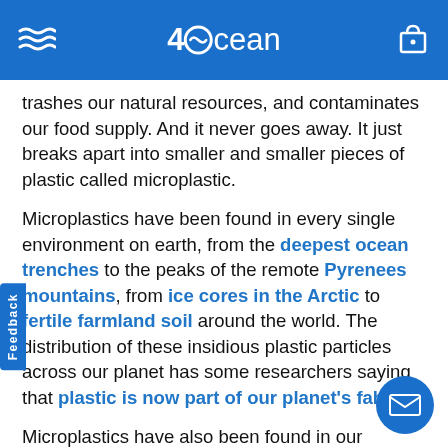4Ocean header with logo and navigation
trashes our natural resources, and contaminates our food supply. And it never goes away. It just breaks apart into smaller and smaller pieces of plastic called microplastic.
Microplastics have been found in every single environment on earth, from the deepest ocean trenches to the peaks of the remote Pyrenees mountains, from ice cores in the Arctic to fertile farmland soil around the world. The distribution of these insidious plastic particles across our planet has some researchers saying that plastic is now part of our planet's fabric.
Microplastics have also been found in our seafood. They've even been found in beer, sea salt, honey, and waste. A 2018 research study found that people are